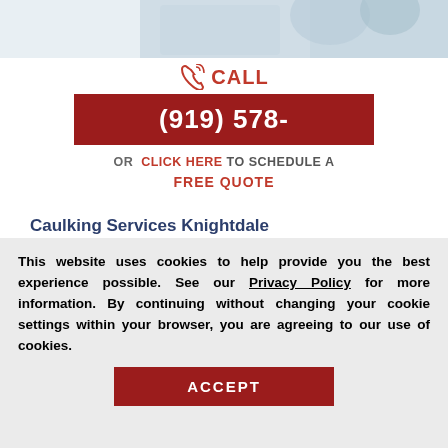[Figure (photo): Partial photo of bathroom tiles / person at top]
CALL
(919) 578-
OR  CLICK HERE TO SCHEDULE A FREE QUOTE
Caulking Services Knightdale North Carolina
The caulk around your bathroom tiles protects both the walls behind it and the
This website uses cookies to help provide you the best experience possible. See our Privacy Policy for more information. By continuing without changing your cookie settings within your browser, you are agreeing to our use of cookies.
ACCEPT